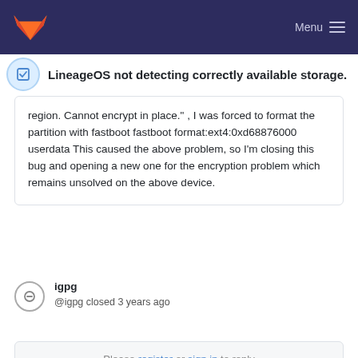Menu
LineageOS not detecting correctly available storage.
region. Cannot encrypt in place." , I was forced to format the partition with fastboot fastboot format:ext4:0xd68876000 userdata This caused the above problem, so I'm closing this bug and opening a new one for the encryption problem which remains unsolved on the above device.
igpg
@igpg closed 3 years ago
Please register or sign in to reply